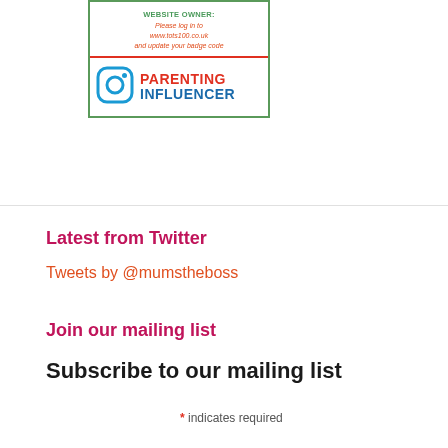[Figure (infographic): Badge widget with two sections: top section has green text 'WEBSITE OWNER: Please log in to www.tots100.co.uk and update your badge code' in italic orange; bottom section has Instagram icon and text 'PARENTING INFLUENCER' in red and blue bold fonts. Bordered with green and red.]
Latest from Twitter
Tweets by @mumstheboss
Join our mailing list
Subscribe to our mailing list
* indicates required